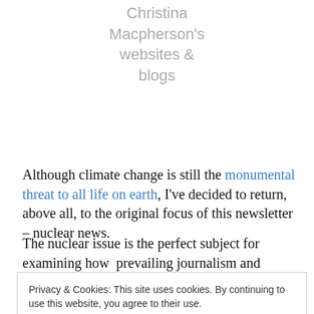Christina Macpherson's websites & blogs
Although climate change is still the monumental threat to all life on earth, I've decided to return, above all, to the original focus of this newsletter – nuclear news.
The nuclear issue is the perfect subject for examining how  prevailing journalism and shonky history distort genuine historiography.  And, this week, there'are fine
Privacy & Cookies: This site uses cookies. By continuing to use this website, you agree to their use.
To find out more, including how to control cookies, see here: Cookie Policy
In fact, series writer Craig Mazin extensively researched